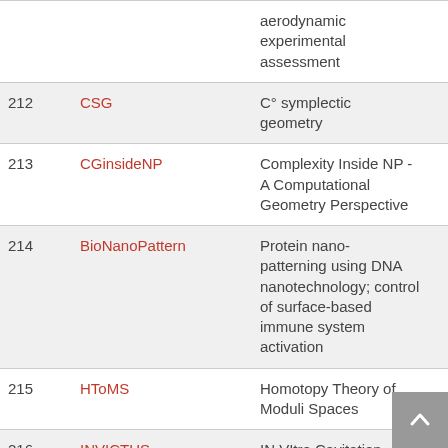| No. | Code | Description |
| --- | --- | --- |
|  |  | aerodynamic experimental assessment |
| 212 | CSG | C° symplectic geometry |
| 213 | CGinsideNP | Complexity Inside NP - A Computational Geometry Perspective |
| 214 | BioNanoPattern | Protein nano-patterning using DNA nanotechnology; control of surface-based immune system activation |
| 215 | HToMS | Homotopy Theory of Moduli Spaces |
| 216 | INVICTUS | IN VItro Cavitation |